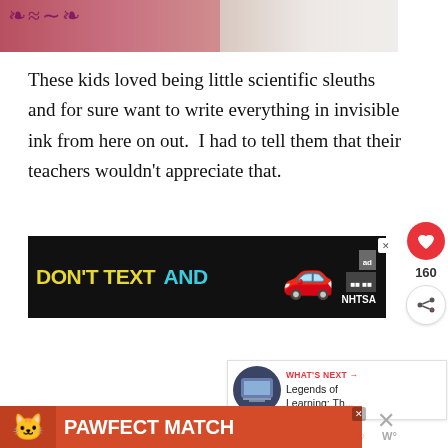[Figure (photo): Partial photo of a colorful textile/fabric with embroidery doodles on the left, and white fabric/clothing on the right]
These kids loved being little scientific sleuths and for sure want to write everything in invisible ink from here on out.  I had to tell them that their teachers wouldn't appreciate that.
[Figure (screenshot): Advertisement banner: DON'T TEXT AND [car emoji] NHTSA ad on black background]
[Figure (screenshot): What's Next widget showing laptop thumbnail with text 'Legends of Learning; Th...']
[Figure (screenshot): Advertisement banner: PAWFECT MATCH on orange background with cat photo]